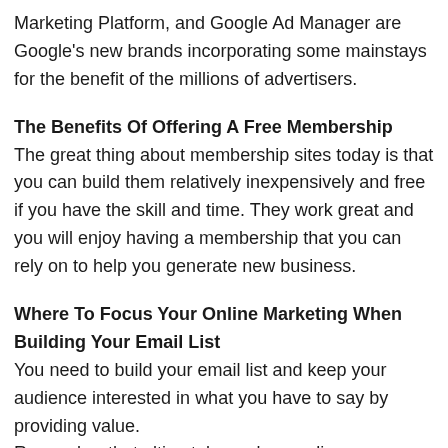Marketing Platform, and Google Ad Manager are Google's new brands incorporating some mainstays for the benefit of the millions of advertisers.
The Benefits Of Offering A Free Membership
The great thing about membership sites today is that you can build them relatively inexpensively and free if you have the skill and time. They work great and you will enjoy having a membership that you can rely on to help you generate new business.
Where To Focus Your Online Marketing When Building Your Email List
You need to build your email list and keep your audience interested in what you have to say by providing value.
Remember that ultimately, you're sending messages to your